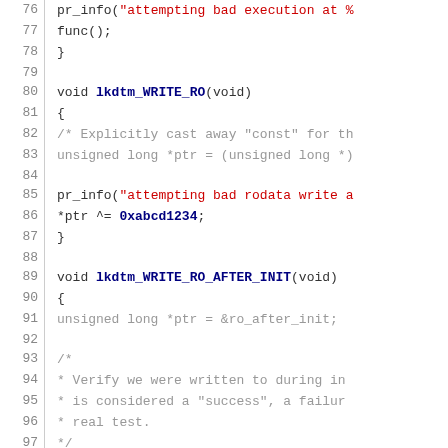[Figure (screenshot): Source code listing in C showing lines 76-105 with syntax highlighting. Functions lkdtm_WRITE_RO and lkdtm_WRITE_RO_AFTER_INIT are displayed with line numbers, colored keywords, string literals in red, and hex constants in bold blue.]